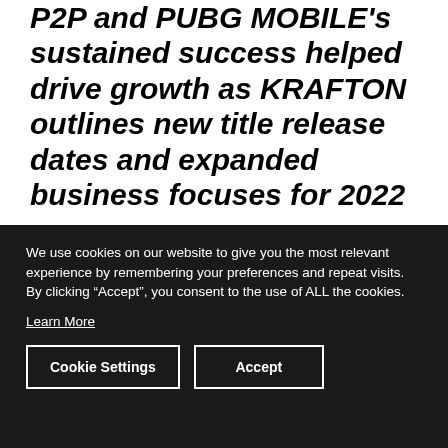P2P and PUBG MOBILE's sustained success helped drive growth as KRAFTON outlines new title release dates and expanded business focuses for 2022
We use cookies on our website to give you the most relevant experience by remembering your preferences and repeat visits. By clicking “Accept”, you consent to the use of ALL the cookies.
Learn More
Cookie Settings
Accept